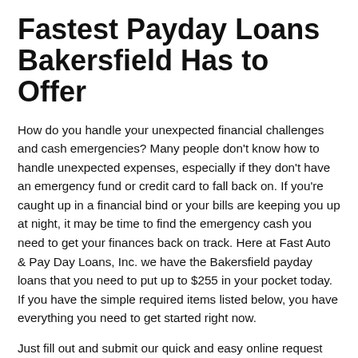Fastest Payday Loans Bakersfield Has to Offer
How do you handle your unexpected financial challenges and cash emergencies? Many people don't know how to handle unexpected expenses, especially if they don't have an emergency fund or credit card to fall back on. If you're caught up in a financial bind or your bills are keeping you up at night, it may be time to find the emergency cash you need to get your finances back on track. Here at Fast Auto & Pay Day Loans, Inc. we have the Bakersfield payday loans that you need to put up to $255 in your pocket today. If you have the simple required items listed below, you have everything you need to get started right now.
Just fill out and submit our quick and easy online request form. and one of our friendly store associates will call you right back to get the ball rolling before you even set foot in our location. This call is an opportunity to learn how our loan products work, ask any questions you have and get a better idea of how much cash you could receive. After this brief call,